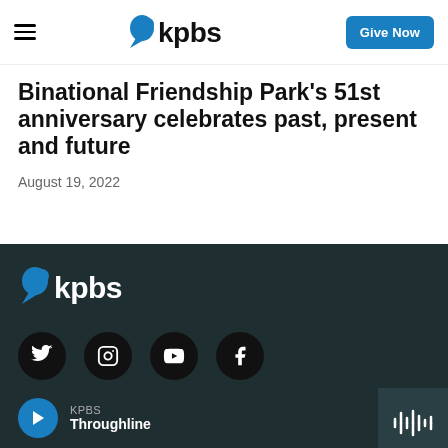KPBS — Give Now
Binational Friendship Park's 51st anniversary celebrates past, present and future
August 19, 2022
[Figure (logo): KPBS logo in white on dark background in footer]
[Figure (infographic): Social media icons: Twitter, Instagram, YouTube, Facebook]
KPBS Throughline